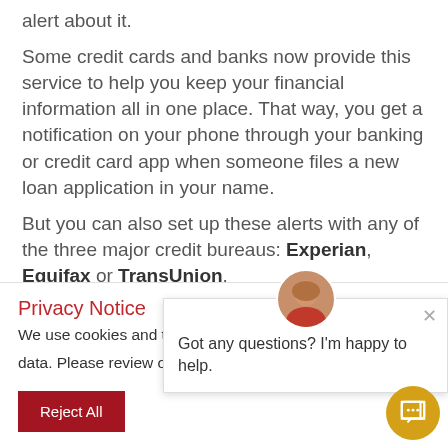alert about it.
Some credit cards and banks now provide this service to help you keep your financial information all in one place. That way, you get a notification on your phone through your banking or credit card app when someone files a new loan application in your name.
But you can also set up these alerts with any of the three major credit bureaus: Experian, Equifax or TransUnion.
Once you file an alert with one of these bureaus, that
Privacy Notice
We use cookies and third data. Please review our Privacy Policy.
Got any questions? I'm happy to help.